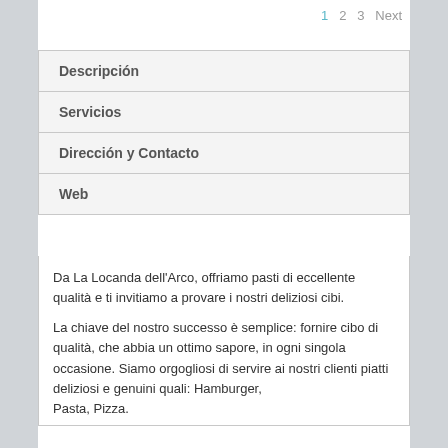1  2  3  Next
| Descripción |
| Servicios |
| Dirección y Contacto |
| Web |
Da La Locanda dell'Arco, offriamo pasti di eccellente qualità e ti invitiamo a provare i nostri deliziosi cibi.
La chiave del nostro successo è semplice: fornire cibo di qualità, che abbia un ottimo sapore, in ogni singola occasione. Siamo orgogliosi di servire ai nostri clienti piatti deliziosi e genuini quali: Hamburger, Pasta, Pizza.